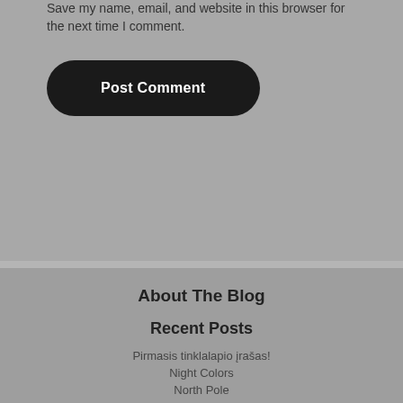Save my name, email, and website in this browser for the next time I comment.
Post Comment
About The Blog
Nulla laoreet vestibulum turpis non finibus. Proin interdum a tortor sit amet mollis. Maecenas sollicitudin accumsan enim, ut aliquet risus.
Recent Posts
Pirmasis tinklalapio įrašas!
Night Colors
North Pole